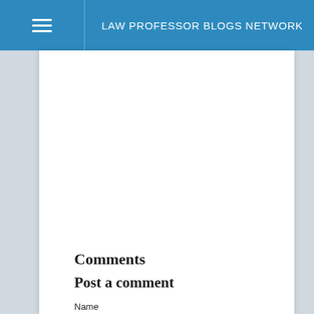LAW PROFESSOR BLOGS NETWORK
Comments
Post a comment
Name